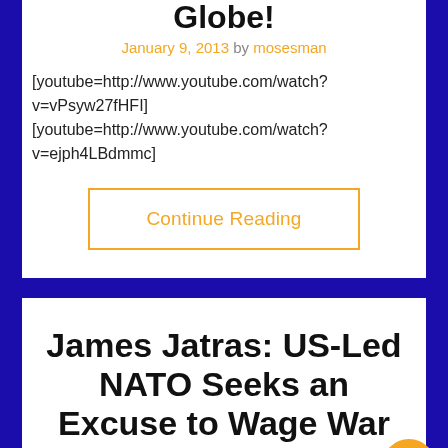Globe!
January 9, 2013 by mosesman
[youtube=http://www.youtube.com/watch?v=vPsyw27fHFI]
[youtube=http://www.youtube.com/watch?v=ejph4LBdmmc]
Continue Reading
James Jatras: US-Led NATO Seeks an Excuse to Wage War on Syria!